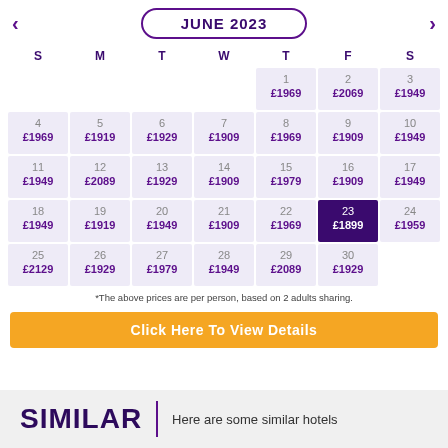JUNE 2023
| S | M | T | W | T | F | S |
| --- | --- | --- | --- | --- | --- | --- |
|  |  |  |  | 1 £1969 | 2 £2069 | 3 £1949 |
| 4 £1969 | 5 £1919 | 6 £1929 | 7 £1909 | 8 £1969 | 9 £1909 | 10 £1949 |
| 11 £1949 | 12 £2089 | 13 £1929 | 14 £1909 | 15 £1979 | 16 £1909 | 17 £1949 |
| 18 £1949 | 19 £1919 | 20 £1949 | 21 £1909 | 22 £1969 | 23 £1899 | 24 £1959 |
| 25 £2129 | 26 £1929 | 27 £1979 | 28 £1949 | 29 £2089 | 30 £1929 |  |
*The above prices are per person, based on 2 adults sharing.
Click Here To View Details
SIMILAR | Here are some similar hotels